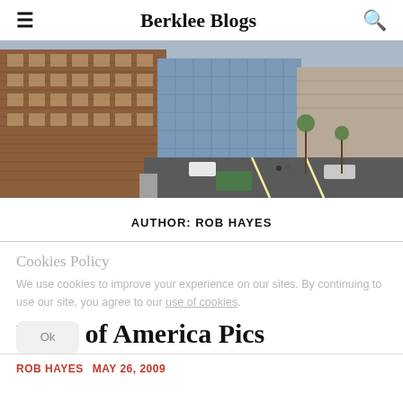Berklee Blogs
[Figure (photo): Aerial/elevated view of Berklee College of Music campus buildings in Boston, showing brick buildings on left, a modern glass building in center, and a city street with cars on the right.]
AUTHOR: ROB HAYES
Cookies Policy
We use cookies to improve your experience on our sites. By continuing to use our site, you agree to our use of cookies.
Voice of America Pics
ROB HAYES  MAY 26, 2009